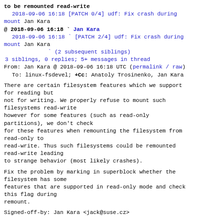to be remounted read-write
  2018-09-06 16:18 [PATCH 0/4] udf: Fix crash during mount Jan Kara
@ 2018-09-06 16:18 ` Jan Kara
  2018-09-06 16:18 ` [PATCH 2/4] udf: Fix crash during mount Jan Kara
             ` (2 subsequent siblings)
  3 siblings, 0 replies; 5+ messages in thread
From: Jan Kara @ 2018-09-06 16:18 UTC (permalink / raw)
  To: linux-fsdevel; +Cc: Anatoly Trosinenko, Jan Kara
There are certain filesystem features which we support for reading but
not for writing. We properly refuse to mount such filesystems read-write
however for some features (such as read-only partitions), we don't check
for these features when remounting the filesystem from read-only to
read-write. Thus such filesystems could be remounted read-write leading
to strange behavior (most likely crashes).
Fix the problem by marking in superblock whether the filesystem has some
features that are supported in read-only mode and check this flag during
remount.
Signed-off-by: Jan Kara <jack@suse.cz>